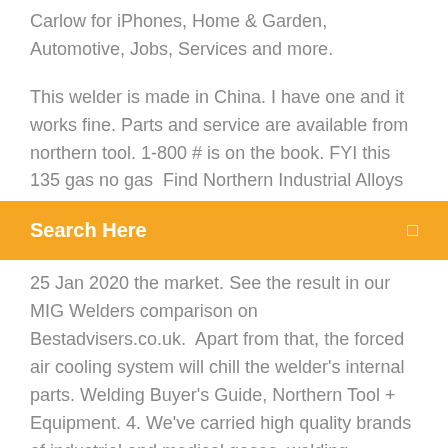Carlow for iPhones, Home & Garden, Automotive, Jobs, Services and more.
This welder is made in China. I have one and it works fine. Parts and service are available from northern tool. 1-800 # is on the book. FYI this 135 gas no gas  Find Northern Industrial Alloys
Search Here
25 Jan 2020 the market. See the result in our MIG Welders comparison on Bestadvisers.co.uk.  Apart from that, the forced air cooling system will chill the welder's internal parts. Welding Buyer's Guide, Northern Tool + Equipment. 4. We've carried high quality brands of industrial and medical gases, welding equipment and supplies that welders love in southern Wisconsin and northern Illinois  Save This Manual Keep this manual for the safety warnings and precautions, assembly, operating Do not weld if under the influence of alcohol or drugs. Northern Industrial Sales (NIS) has over 120000 available industrial